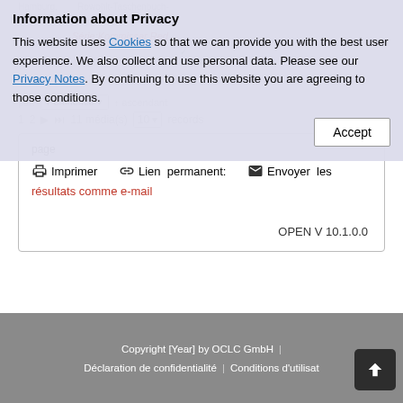Information about Privacy
This website uses Cookies so that we can provide you with the best user experience. We also collect and use personal data. Please see our Privacy Notes. By continuing to use this website you are agreeing to those conditions.
page
Imprimer   Lien permanent:   Envoyer les résultats comme e-mail
OPEN V 10.1.0.0
Copyright [Year] by OCLC GmbH  |  Déclaration de confidentialité  |  Conditions d'utilisation